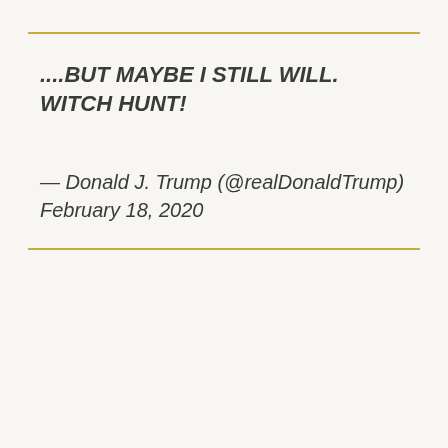....BUT MAYBE I STILL WILL. WITCH HUNT!
— Donald J. Trump (@realDonaldTrump) February 18, 2020